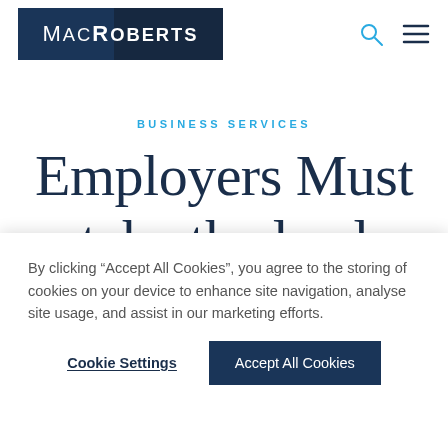MacRoberts
BUSINESS SERVICES
Employers Must take the lead
By clicking “Accept All Cookies”, you agree to the storing of cookies on your device to enhance site navigation, analyse site usage, and assist in our marketing efforts.
Cookie Settings
Accept All Cookies